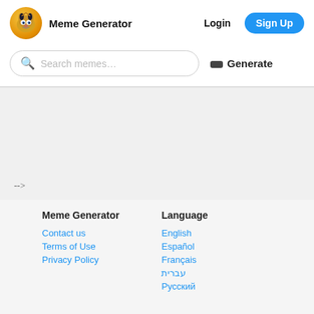Meme Generator  Login  Sign Up
Search memes...  Generate
-->
Meme Generator
Contact us
Terms of Use
Privacy Policy
Language
English
Español
Français
עברית
Русский